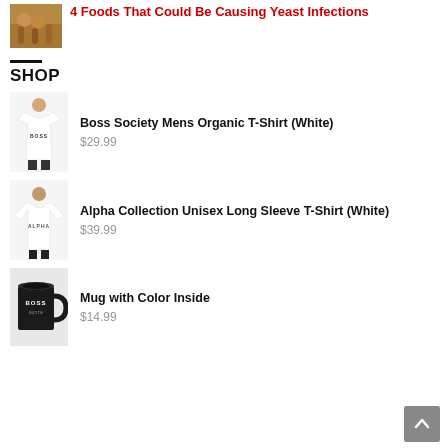[Figure (photo): Photo of people toasting with orange drinks]
4 Foods That Could Be Causing Yeast Infections
SHOP
[Figure (photo): Man wearing white Boss Society t-shirt]
Boss Society Mens Organic T-Shirt (White)
$29.99
[Figure (photo): Person wearing white Alpha Collection long sleeve t-shirt]
Alpha Collection Unisex Long Sleeve T-Shirt (White)
$39.99
[Figure (photo): Black and white Boss mug with color inside]
Mug with Color Inside
$14.99